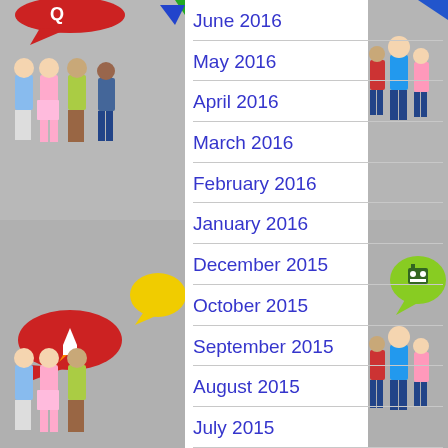[Figure (photo): Left side strip showing children standing and decorative comic-style speech bubbles with rocket icons, split into top and bottom halves with a grey background]
June 2016
May 2016
April 2016
March 2016
February 2016
January 2016
December 2015
October 2015
September 2015
August 2015
July 2015
June 2015
May 2015
[Figure (photo): Right side strip showing children standing against grey background with decorative comic-style speech bubble with robot icon]